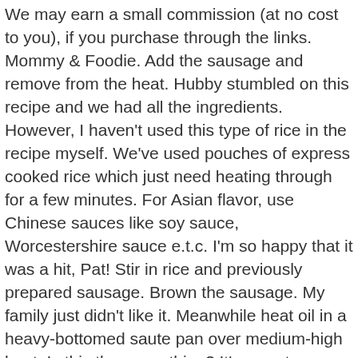We may earn a small commission (at no cost to you), if you purchase through the links. Mommy & Foodie. Add the sausage and remove from the heat. Hubby stumbled on this recipe and we had all the ingredients. However, I haven't used this type of rice in the recipe myself. We've used pouches of express cooked rice which just need heating through for a few minutes. For Asian flavor, use Chinese sauces like soy sauce, Worcestershire sauce e.t.c. I'm so happy that it was a hit, Pat! Stir in rice and previously prepared sausage. Brown the sausage. My family just didn't like it. Meanwhile heat oil in a heavy-bottomed saute pan over medium-high heat. Is this the same thing? It's easy to prep and even easier to make! I've used minute rice, I've also used kielbasa sausage, a can of cream mushroom, cream of potato an shredded cheese. Sprinkle lots of shredded cheese on top and bake at 375 degrees until cheese is melted and bubbly. You can use ground sausage– You would cook it first until it's no longer pink and then, drain fat. Use whatever you like. Check! Sausage and rice casserole– Once everything is cooked, spread it in a